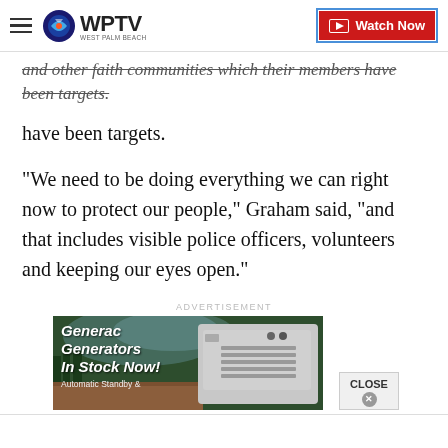WPTV — Watch Now
and other faith communities which have themselves have been targets.
"We need to be doing everything we can right now to protect our people," Graham said, "and that includes visible police officers, volunteers and keeping our eyes open."
ADVERTISEMENT
[Figure (photo): Advertisement for Generac Generators In Stock Now! Automatic Standby & generator unit image with Close button]